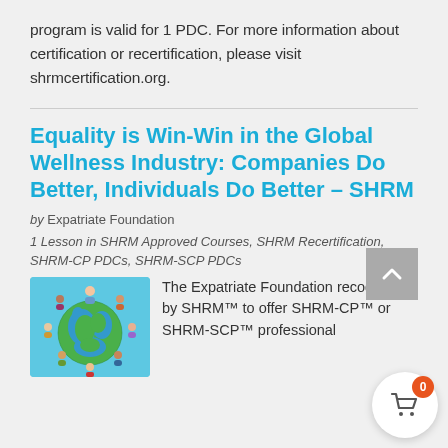program is valid for 1 PDC. For more information about certification or recertification, please visit shrmcertification.org.
Equality is Win-Win in the Global Wellness Industry: Companies Do Better, Individuals Do Better – SHRM
by Expatriate Foundation
1 Lesson in SHRM Approved Courses, SHRM Recertification, SHRM-CP PDCs, SHRM-SCP PDCs
[Figure (illustration): Globe with diverse people icons surrounding it on a light blue background]
The Expatriate Foundation recognized by SHRM™ to offer SHRM-CP™ or SHRM-SCP™ professional